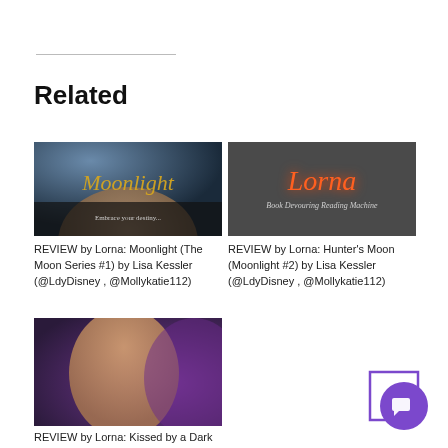Related
[Figure (photo): Book cover for Moonlight (The Moon Series #1) — dark romantic cover with script gold title 'Moonlight' and text 'Embrace your destiny...']
REVIEW by Lorna: Moonlight (The Moon Series #1) by Lisa Kessler (@LdyDisney , @Mollykatie112)
[Figure (logo): Lorna Book Devouring Reading Machine logo — dark grey background with glowing red-orange script 'Lorna' and subtitle 'Book Devouring Reading Machine']
REVIEW by Lorna: Hunter's Moon (Moonlight #2) by Lisa Kessler (@LdyDisney , @Mollykatie112)
[Figure (photo): Book cover — male torso against purple smoky background]
REVIEW by Lorna: Kissed by a Dark Prince